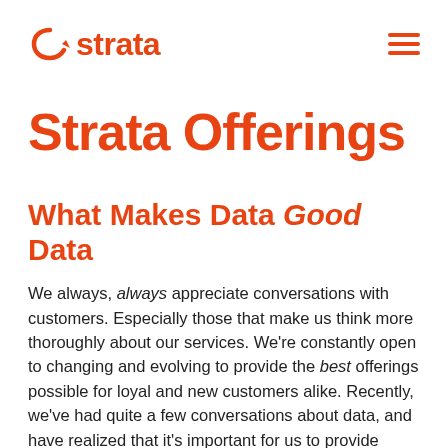strata
Strata Offerings
What Makes Data Good Data
We always, always appreciate conversations with customers. Especially those that make us think more thoroughly about our services. We're constantly open to changing and evolving to provide the best offerings possible for loyal and new customers alike. Recently, we've had quite a few conversations about data, and have realized that it's important for us to provide some